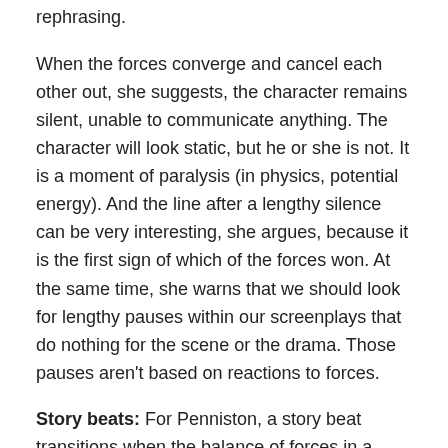rephrasing.
When the forces converge and cancel each other out, she suggests, the character remains silent, unable to communicate anything. The character will look static, but he or she is not. It is a moment of paralysis (in physics, potential energy). And the line after a lengthy silence can be very interesting, she argues, because it is the first sign of which of the forces won. At the same time, she warns that we should look for lengthy pauses within our screenplays that do nothing for the scene or the drama. Those pauses aren't based on reactions to forces.
Story beats: For Penniston, a story beat transitions when the balance of forces in a scene shifts, and for as a writer, you want to be very clear about the point at which this shift occurs. You should be able to point to the specific line in a scene.